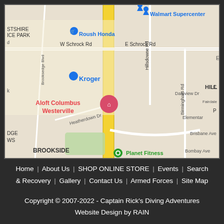[Figure (map): Google Maps showing area around Aloft Columbus Westerville, with landmarks including Roush Honda, Walmart Supercenter, Kroger, Planet Fitness, and streets including W Schrock Rd, E Schrock Rd, Heatherdown Dr, Birmingham Rd, Hillsdowne Rd, Brooksedge Blvd, Daleview Dr, Brisbane Ave, Bombay Ave. Neighborhoods: Brookside, Hills. Area shows a yellow highway/route running vertically.]
Home | About Us | SHOP ONLINE STORE | Events | Search & Recovery | Gallery | Contact Us | Armed Forces | Site Map
Copyright © 2007-2022 - Captain Rick's Diving Adventures
Website Design by RAIN